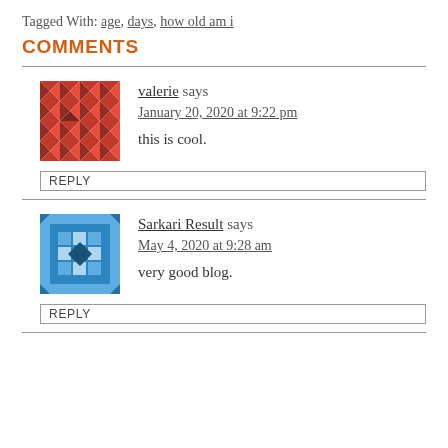Tagged With: age, days, how old am i
COMMENTS
valerie says
January 20, 2020 at 9:22 pm
this is cool.
REPLY
Sarkari Result says
May 4, 2020 at 9:28 am
very good blog.
REPLY